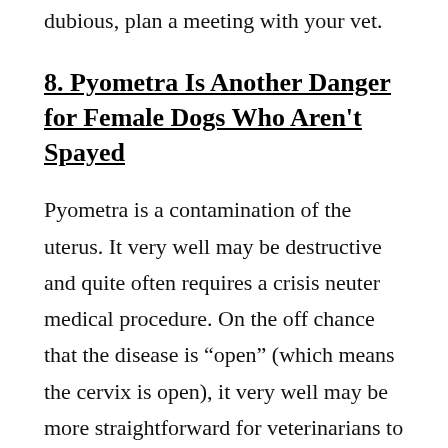dubious, plan a meeting with your vet.
8. Pyometra Is Another Danger for Female Dogs Who Aren't Spayed
Pyometra is a contamination of the uterus. It very well may be destructive and quite often requires a crisis neuter medical procedure. On the off chance that the disease is “open” (which means the cervix is open), it very well may be more straightforward for veterinarians to analyze because there is generally putrid release from the vaginal territory. “Mutts can likewise have an assortment where the cervix shut, so the discharge is developing inside the canine, and those dogs become extremely ill,” Dr. Kolso says